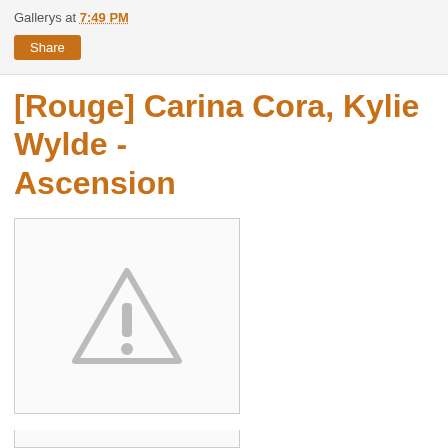Gallerys at 7:49 PM
Share
[Rouge] Carina Cora, Kylie Wylde - Ascension
[Figure (illustration): Placeholder image with a grey warning/caution triangle icon (exclamation mark inside triangle) on a white background with a light border]